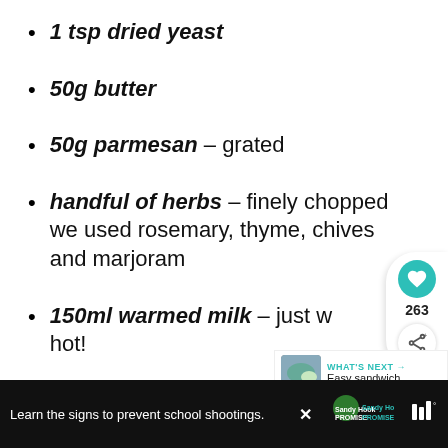1 tsp dried yeast
50g butter
50g parmesan – grated
handful of herbs – finely chopped we used rosemary, thyme, chives and marjoram
150ml warmed milk – just w... hot!
Learn the signs to prevent school shootings.